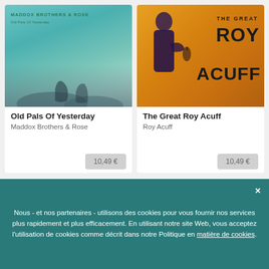[Figure (illustration): Album cover for 'Old Pals Of Yesterday' by Maddox Brothers & Rose. Teal/cyan background with text at top and silhouetted figures at bottom.]
Old Pals Of Yesterday
Maddox Brothers & Rose
10,49 €
[Figure (illustration): Album cover for 'The Great Roy Acuff'. Golden/orange background with man in dark suit holding a violin. Large bold text reads THE GREAT ROY ACUFF.]
The Great Roy Acuff
Roy Acuff
10,49 €
Nous - et nos partenaires - utilisons des cookies pour vous fournir nos services plus rapidement et plus efficacement. En utilisant notre site Web, vous acceptez l'utilisation de cookies comme décrit dans notre Politique en matière de cookies.